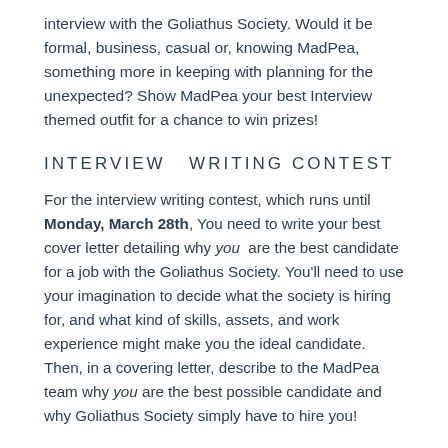interview with the Goliathus Society. Would it be formal, business, casual or, knowing MadPea, something more in keeping with planning for the unexpected? Show MadPea your best Interview themed outfit for a chance to win prizes!
INTERVIEW  WRITING CONTEST
For the interview writing contest, which runs until Monday, March 28th, You need to write your best cover letter detailing why you are the best candidate for a job with the Goliathus Society. You'll need to use your imagination to decide what the society is hiring for, and what kind of skills, assets, and work experience might make you the ideal candidate. Then, in a covering letter, describe to the MadPea team why you are the best possible candidate and why Goliathus Society simply have to hire you!